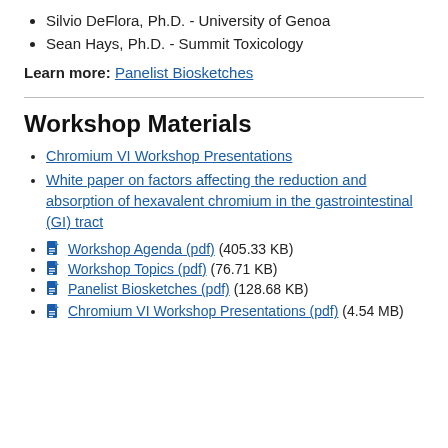Silvio DeFlora, Ph.D. - University of Genoa
Sean Hays, Ph.D. - Summit Toxicology
Learn more: Panelist Biosketches
Workshop Materials
Chromium VI Workshop Presentations
White paper on factors affecting the reduction and absorption of hexavalent chromium in the gastrointestinal (GI) tract
Workshop Agenda (pdf) (405.33 KB)
Workshop Topics (pdf) (76.71 KB)
Panelist Biosketches (pdf) (128.68 KB)
Chromium VI Workshop Presentations (pdf) (4.54 MB)